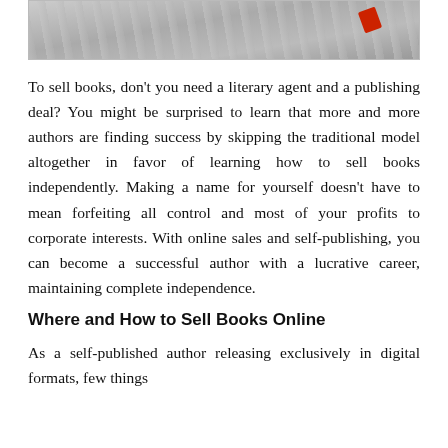[Figure (photo): Top portion of a decorative image showing large 3D grey letters/numbers with a red accent element, partially cropped]
To sell books, don't you need a literary agent and a publishing deal? You might be surprised to learn that more and more authors are finding success by skipping the traditional model altogether in favor of learning how to sell books independently. Making a name for yourself doesn't have to mean forfeiting all control and most of your profits to corporate interests. With online sales and self-publishing, you can become a successful author with a lucrative career, maintaining complete independence.
Where and How to Sell Books Online
As a self-published author releasing exclusively in digital formats, few things